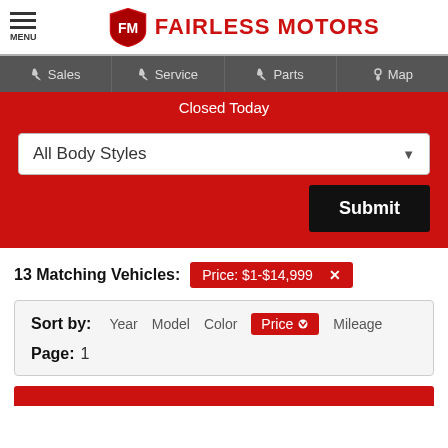FAIRLESS MOTORS
Sales | Service | Parts | Map
Closed Today
All Body Styles
Submit
13 Matching Vehicles: Price: $1-$14,999
Sort by: Year Model Color Price Mileage
Page: 1